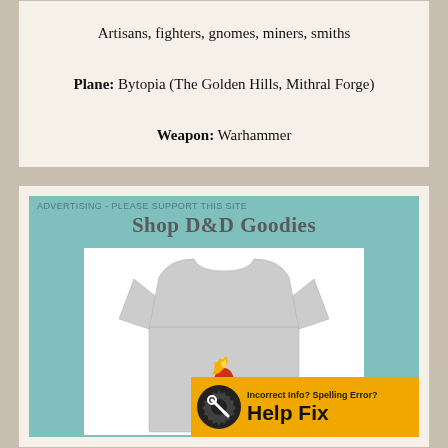Artisans, fighters, gnomes, miners, smiths
Plane: Bytopia (The Golden Hills, Mithral Forge)
Weapon: Warhammer
ADVERTISING - PLEASE SUPPORT THIS SITE
[Figure (screenshot): Advertisement banner for 'Shop D&D Goodies' showing a grey t-shirt with an anvil and flame design, plus a 'Help Fix' button overlay]
Incorrect Info? Spelling Error? Help Fix